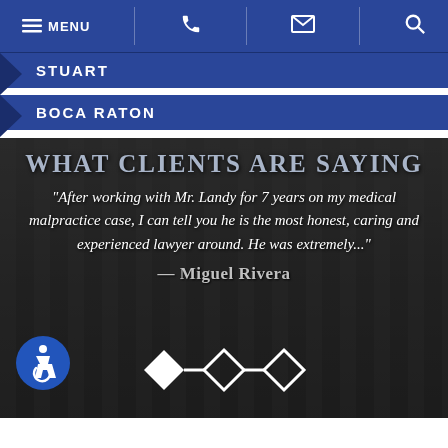MENU | Phone | Email | Search
STUART
BOCA RATON
WHAT CLIENTS ARE SAYING
“After working with Mr. Landy for 7 years on my medical malpractice case, I can tell you he is the most honest, caring and experienced lawyer around. He was extremely...”
— Miguel Rivera
[Figure (illustration): Accessibility icon (wheelchair symbol) in white on blue circle, bottom left of hero section]
[Figure (infographic): Three diamond shapes as navigation indicators at bottom center of hero section - first filled/solid, second and third outlined]